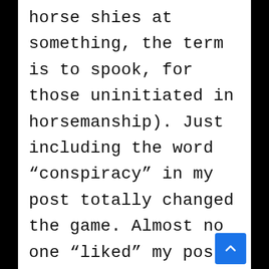horse shies at something, the term is to spook, for those uninitiated in horsemanship). Just including the word “conspiracy” in my post totally changed the game. Almost no one “liked” my post. Not even sure they saw it. I had been working on a blog about interspecies takeover by horses on the internet, modeled by programs of Mr. Ed monitoring